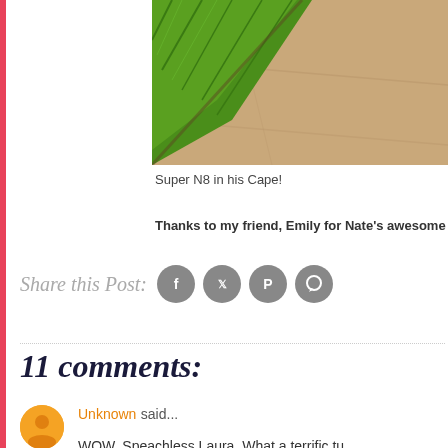[Figure (photo): Partial photo of grass lawn edge meeting a concrete/stone surface, viewed from above. The green grass is in the upper-left corner and tan/beige concrete fills the rest.]
Super N8 in his Cape!
Thanks to my friend, Emily for Nate's awesome c
Share this Post:
11 comments:
Unknown said...
WOW. Speachless Laura. What a terrific tu